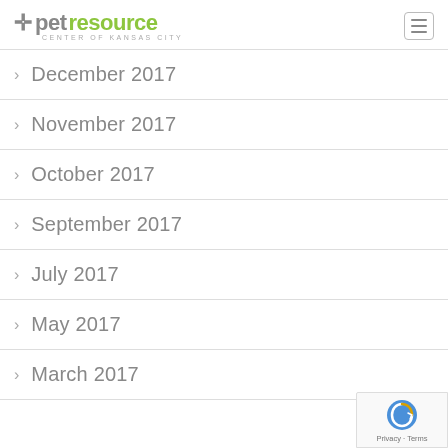petresource CENTER OF KANSAS CITY
December 2017
November 2017
October 2017
September 2017
July 2017
May 2017
March 2017